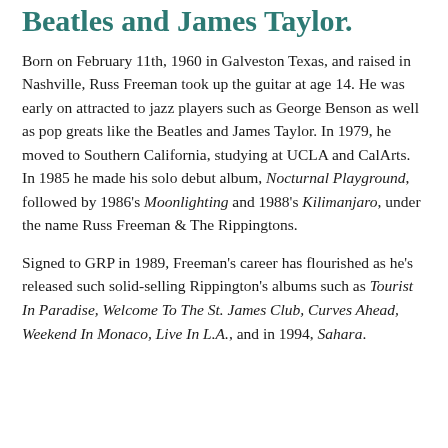Beatles and James Taylor.
Born on February 11th, 1960 in Galveston Texas, and raised in Nashville, Russ Freeman took up the guitar at age 14. He was early on attracted to jazz players such as George Benson as well as pop greats like the Beatles and James Taylor. In 1979, he moved to Southern California, studying at UCLA and CalArts. In 1985 he made his solo debut album, Nocturnal Playground, followed by 1986's Moonlighting and 1988's Kilimanjaro, under the name Russ Freeman & The Rippingtons.
Signed to GRP in 1989, Freeman's career has flourished as he's released such solid-selling Rippington's albums such as Tourist In Paradise, Welcome To The St. James Club, Curves Ahead, Weekend In Monaco, Live In L.A., and in 1994, Sahara.